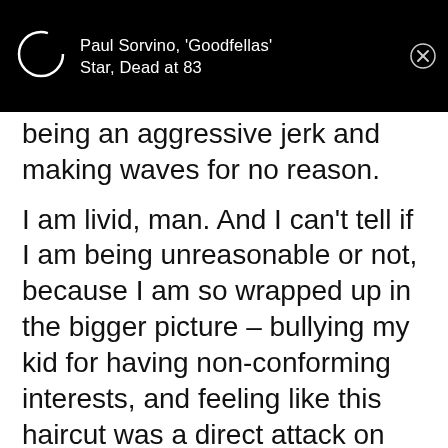[Figure (screenshot): Mobile notification bar with black background showing a circular loading spinner icon on the left and text 'Paul Sorvino, ‘Goodfellas’ Star, Dead at 83' with a close (X) button on the right]
being an aggressive jerk and making waves for no reason.
I am livid, man. And I can’t tell if I am being unreasonable or not, because I am so wrapped up in the bigger picture – bullying my kid for having non-conforming interests, and feeling like this haircut was a direct attack on challenging the family matriarch